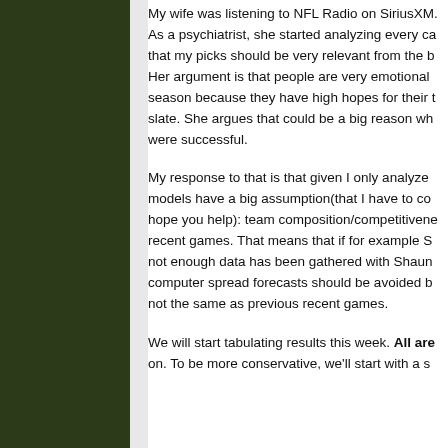My wife was listening to NFL Radio on SiriusXM. As a psychiatrist, she started analyzing every ca that my picks should be very relevant from the b Her argument is that people are very emotional season because they have high hopes for their t slate. She argues that could be a big reason wh were successful.
My response to that is that given I only analyze models have a big assumption(that I have to co hope you help): team composition/competitivene recent games. That means that if for example S not enough data has been gathered with Shaun computer spread forecasts should be avoided b not the same as previous recent games.
We will start tabulating results this week. All are on. To be more conservative, we'll start with a s